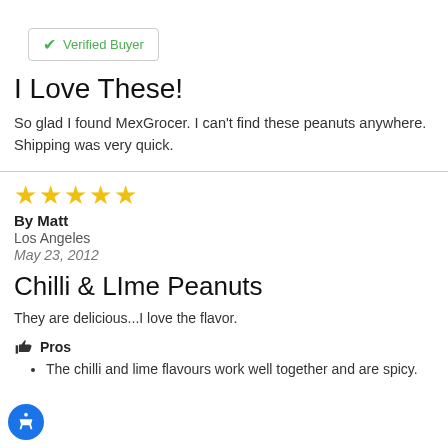✓ Verified Buyer
I Love These!
So glad I found MexGrocer. I can't find these peanuts anywhere. Shipping was very quick.
★★★★★
By Matt
Los Angeles
May 23, 2012
Chilli & LIme Peanuts
They are delicious...I love the flavor.
👍 Pros
The chilli and lime flavours work well together and are spicy.